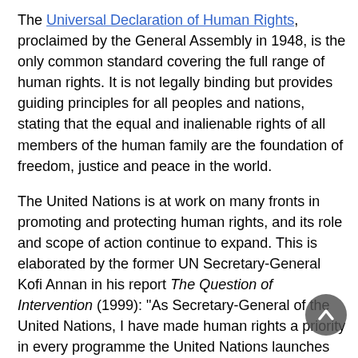The Universal Declaration of Human Rights, proclaimed by the General Assembly in 1948, is the only common standard covering the full range of human rights. It is not legally binding but provides guiding principles for all peoples and nations, stating that the equal and inalienable rights of all members of the human family are the foundation of freedom, justice and peace in the world.
The United Nations is at work on many fronts in promoting and protecting human rights, and its role and scope of action continue to expand. This is elaborated by the former UN Secretary-General Kofi Annan in his report The Question of Intervention (1999): "As Secretary-General of the United Nations, I have made human rights a priority in every programme the United Nations launches and in every mission we embark upon. I have done so because the promotion and defence of human rights is at heart of every aspect of our work and every article of our Charter".